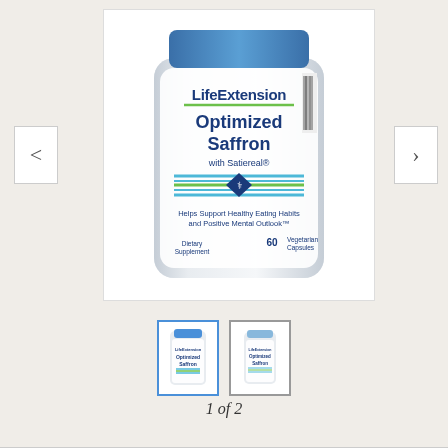[Figure (photo): Life Extension Optimized Saffron with Satiereal dietary supplement bottle, 60 Vegetarian Capsules. White bottle with blue cap showing brand name, product name, and description: Helps Support Healthy Eating Habits and Positive Mental Outlook.]
[Figure (photo): Two small thumbnail images of the Life Extension Optimized Saffron supplement bottle. First thumbnail is selected (active border).]
1 of 2